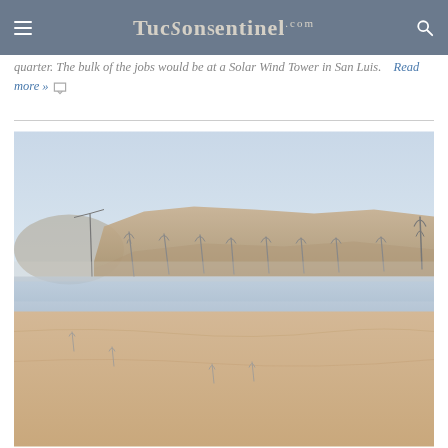TucsonSentinel.com
quarter. The bulk of the jobs would be at a Solar Wind Tower in San Luis.  Read more »
[Figure (photo): Desert landscape showing a sandy dry riverbed or construction site with rows of metal wind turbine or solar tower structures in the background, and rocky bluffs beyond under a hazy sky.]